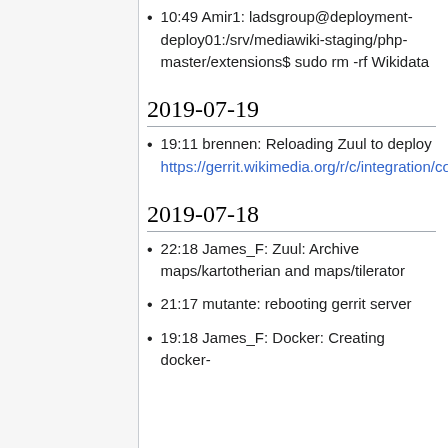10:49 Amir1: ladsgroup@deployment-deploy01:/srv/mediawiki-staging/php-master/extensions$ sudo rm -rf Wikidata
2019-07-19
19:11 brennen: Reloading Zuul to deploy https://gerrit.wikimedia.org/r/c/integration/config/+/524565
2019-07-18
22:18 James_F: Zuul: Archive maps/kartotherian and maps/tilerator
21:17 mutante: rebooting gerrit server
19:18 James_F: Docker: Creating docker-